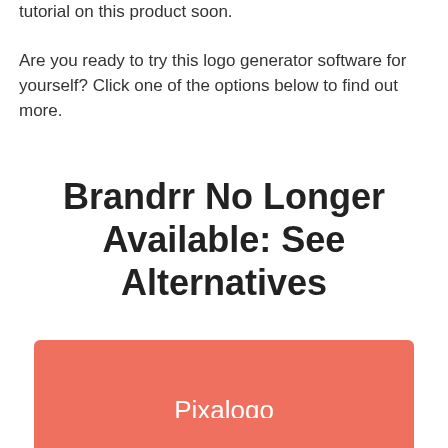tutorial on this product soon. Are you ready to try this logo generator software for yourself? Click one of the options below to find out more.
Brandrr No Longer Available: See Alternatives
[Figure (other): Coral/salmon colored button labeled 'Pixalogo']
[Figure (other): Coral/salmon colored button partially visible at bottom]